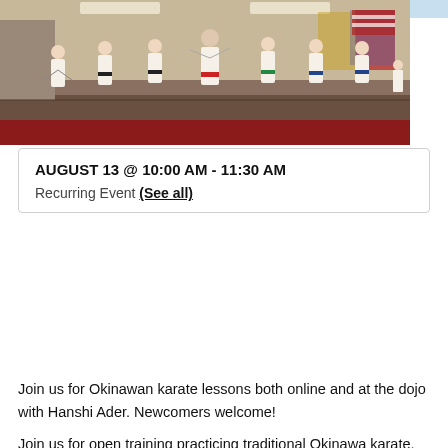IN-PERSON & ONLINE KARATE TRAINING (NOVICE)
AUGUST 13 @ 10:00 AM - 11:30 AM
Recurring Event (See all)
[Figure (photo): Group of karate students and instructor in white gi uniforms practicing at an indoor dojo, with American and other flags visible in the background.]
Join us for Okinawan karate lessons both online and at the dojo with Hanshi Ader. Newcomers welcome!
Join us for open training practicing traditional Okinawa karate. All ages are welcome during this class, so it's a perfect opportunity for parents to practice alongside their